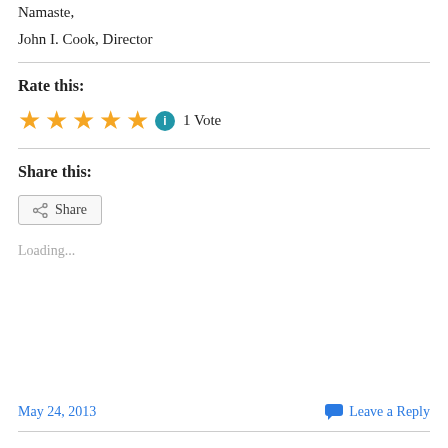Namaste,
John I. Cook, Director
Rate this:
★★★★★ ⓘ 1 Vote
Share this:
Share
Loading...
May 24, 2013
Leave a Reply